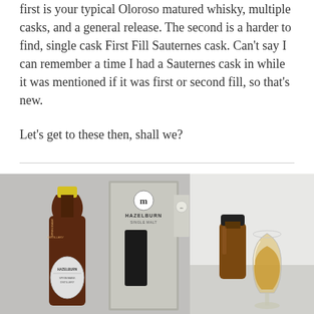first is your typical Oloroso matured whisky, multiple casks, and a general release. The second is a harder to find, single cask First Fill Sauternes cask. Can't say I can remember a time I had a Sauternes cask in while it was mentioned if it was first or second fill, so that's new.
Let's get to these then, shall we?
[Figure (photo): Left image: Hazelburn whisky bottle with yellow wax cap, dark amber liquid, silver label reading HAZELBURN, next to its grey box packaging with 'HAZELBURN SINGLE MALT' logo. Right image: small amber glass sample bottle with black cap next to a Glencairn whisky glass containing golden whisky, on a light grey background.]